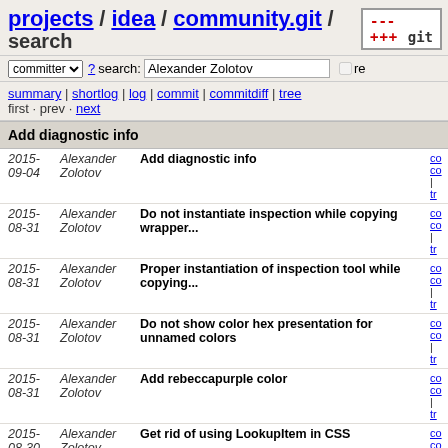projects / idea / community.git / search
committer ? search: Alexander Zolotov re
summary | shortlog | log | commit | commitdiff | tree
first · prev · next
Add diagnostic info
| Date | Author | Message | Links |
| --- | --- | --- | --- |
| 2015-09-04 | Alexander Zolotov | Add diagnostic info | co co | tr |
| 2015-08-31 | Alexander Zolotov | Do not instantiate inspection while copying wrapper... | co co | tr |
| 2015-08-31 | Alexander Zolotov | Proper instantiation of inspection tool while copying... | co co | tr |
| 2015-08-31 | Alexander Zolotov | Do not show color hex presentation for unnamed colors | co co | tr |
| 2015-08-31 | Alexander Zolotov | Add rebeccapurple color | co co | tr |
| 2015-08-30 | Alexander Zolotov | Get rid of using LookupItem in CSS | co co | tr |
| 2015-08-30 | Alexander Zolotov | Use bombed charsequence while calculating issue references... | co co | tr |
| 2015-08-30 | Alexander Zolotov | Get rid of using LookupValue | co co | tr |
| 2015-08-30 | Alexander Zolotov | Fix project leak in file structure tests | co co | tr |